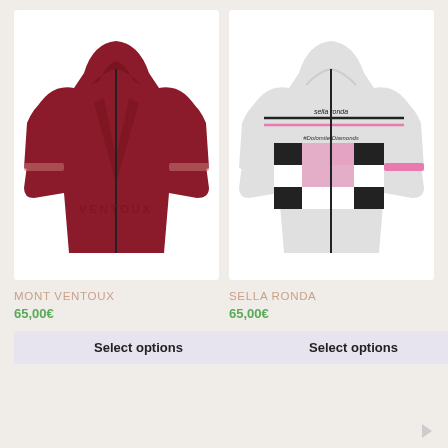[Figure (photo): Dark red/maroon cycling jersey with V design and VENTOUX text, zip front, short sleeves]
[Figure (photo): White cycling jersey with Sella Ronda branding, checkered pattern in pink, black, and white on chest, pink accents on sleeves]
MONT VENTOUX
SELLA RONDA
65,00€
65,00€
Select options
Select options